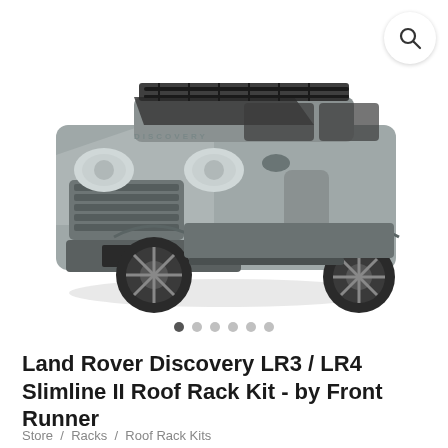[Figure (photo): Land Rover Discovery LR3/LR4 SUV in silver/grey with a Slimline II Roof Rack Kit mounted on the roof, shown in a 3/4 front-left angle view on a white background. A circular search icon is overlaid in the top-right corner.]
● ● ● ● ● ●
Land Rover Discovery LR3 / LR4 Slimline II Roof Rack Kit - by Front Runner
Store  /  Racks  /  Roof Rack Kits